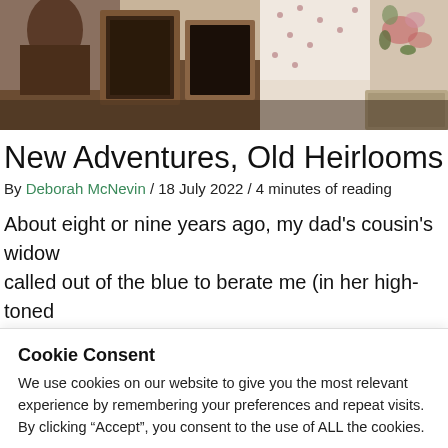[Figure (photo): Hero photo showing vintage heirloom items including framed photographs and embroidered fabric/textiles on a wooden surface]
New Adventures, Old Heirlooms
By Deborah McNevin / 18 July 2022 / 4 minutes of reading
About eight or nine years ago, my dad's cousin's widow called out of the blue to berate me (in her high-toned
Cookie Consent
We use cookies on our website to give you the most relevant experience by remembering your preferences and repeat visits. By clicking “Accept”, you consent to the use of ALL the cookies.
Cookie settings
ACCEPT